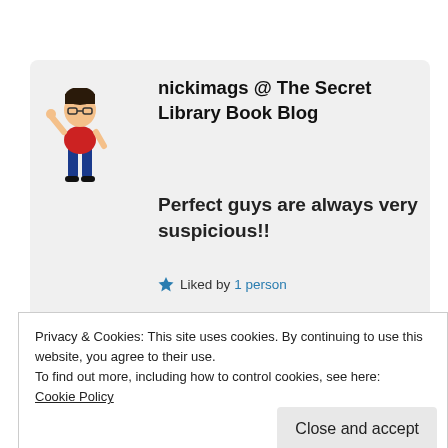[Figure (illustration): Cartoon avatar of a person with dark hair, glasses, wearing a red top and blue jeans, waving]
nickimags @ The Secret Library Book Blog
Perfect guys are always very suspicious!!
★ Liked by 1 person
Privacy & Cookies: This site uses cookies. By continuing to use this website, you agree to their use.
To find out more, including how to control cookies, see here:
Cookie Policy
Close and accept